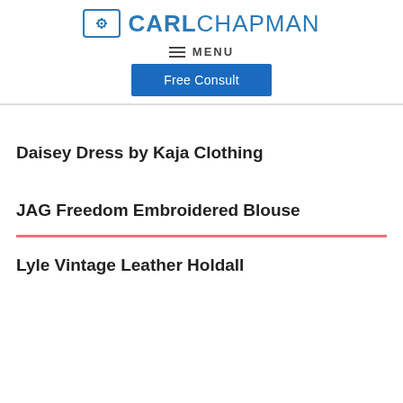CARLCHAPMAN
MENU
Free Consult
Daisey Dress by Kaja Clothing
JAG Freedom Embroidered Blouse
Lyle Vintage Leather Holdall